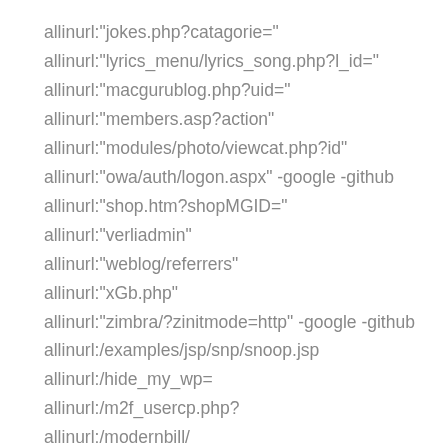allinurl:"jokes.php?catagorie="
allinurl:"lyrics_menu/lyrics_song.php?l_id="
allinurl:"macgurublog.php?uid="
allinurl:"members.asp?action"
allinurl:"modules/photo/viewcat.php?id"
allinurl:"owa/auth/logon.aspx" -google -github
allinurl:"shop.htm?shopMGID="
allinurl:"verliadmin"
allinurl:"weblog/referrers"
allinurl:"xGb.php"
allinurl:"zimbra/?zinitmode=http" -google -github
allinurl:/examples/jsp/snp/snoop.jsp
allinurl:/hide_my_wp=
allinurl:/m2f_usercp.php?
allinurl:/modernbill/
allinurl:/myspeach/
allinurl:/phpress/
allinurl:/vamxp/security.php